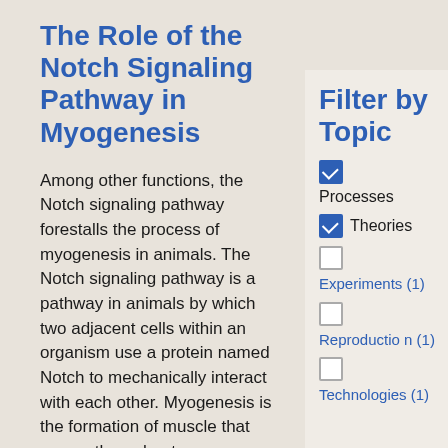The Role of the Notch Signaling Pathway in Myogenesis
Among other functions, the Notch signaling pathway forestalls the process of myogenesis in animals. The Notch signaling pathway is a pathway in animals by which two adjacent cells within an organism use a protein named Notch to mechanically interact with each other. Myogenesis is the formation of muscle that occurs throughout an animal's development.
Filter by Topic
Processes (checked)
Theories (checked)
Experiments (1)
Reproduction (1)
Technologies (1)